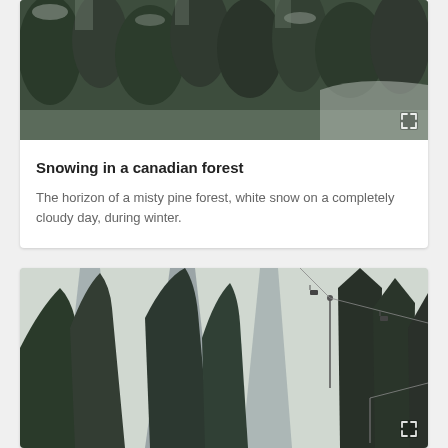[Figure (photo): Aerial view of a snowy Canadian pine forest, overcast cloudy day, dark green trees covered in snow, muted grey-green tones.]
Snowing in a canadian forest
The horizon of a misty pine forest, white snow on a completely cloudy day, during winter.
[Figure (photo): Aerial view of a ski resort slope with snow-covered pine trees, ski lift chairs visible on the right side, deep shadows cast by trees on white snow, black and white tones.]